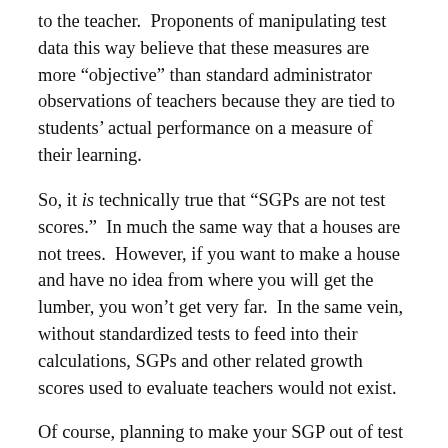to the teacher.  Proponents of manipulating test data this way believe that these measures are more “objective” than standard administrator observations of teachers because they are tied to students’ actual performance on a measure of their learning.
So, it is technically true that “SGPs are not test scores.”  In much the same way that a houses are not trees.  However, if you want to make a house and have no idea from where you will get the lumber, you won’t get very far.  In the same vein, without standardized tests to feed into their calculations, SGPs and other related growth scores used to evaluate teachers would not exist.
Of course, planning to make your SGP out of test scores the way it has been done in New